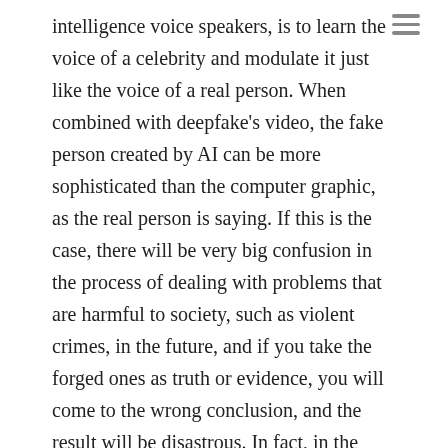intelligence voice speakers, is to learn the voice of a celebrity and modulate it just like the voice of a real person. When combined with deepfake's video, the fake person created by AI can be more sophisticated than the computer graphic, as the real person is saying. If this is the case, there will be very big confusion in the process of dealing with problems that are harmful to society, such as violent crimes, in the future, and if you take the forged ones as truth or evidence, you will come to the wrong conclusion, and the result will be disastrous. In fact, in the U.S., it is undermining the public's trust by producing obscene materials that synthesize faces of journalists, social activists, politicians and actors. Concerns are rising that this will have a serious impact on next year's U.S. presidential election. I think that Deepfake's synthetic media technology can never rule out the possibility of being used maliciously, such as disrupting elections and plunging stock prices of listed companies. Many scholars now say that this deep fake technology is